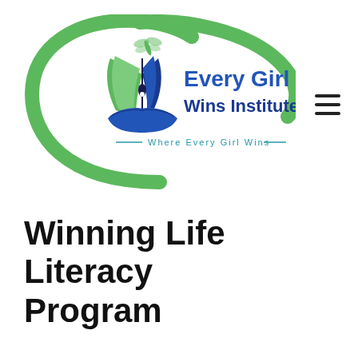[Figure (logo): Every Girl Wins Institute logo: green swoosh arc, open book with pen nib and hands, dragonfly on top, text 'Every Girl Wins Institute' in blue, tagline 'Where Every Girl Wins' in teal below]
Winning Life Literacy Program